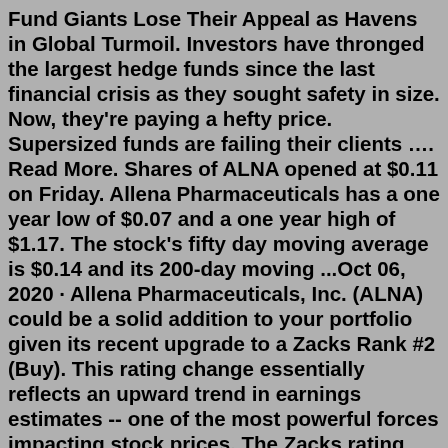Fund Giants Lose Their Appeal as Havens in Global Turmoil. Investors have thronged the largest hedge funds since the last financial crisis as they sought safety in size. Now, they're paying a hefty price. Supersized funds are failing their clients …. Read More. Shares of ALNA opened at $0.11 on Friday. Allena Pharmaceuticals has a one year low of $0.07 and a one year high of $1.17. The stock's fifty day moving average is $0.14 and its 200-day moving ...Oct 06, 2020 · Allena Pharmaceuticals, Inc. (ALNA) could be a solid addition to your portfolio given its recent upgrade to a Zacks Rank #2 (Buy). This rating change essentially reflects an upward trend in earnings estimates -- one of the most powerful forces impacting stock prices. The Zacks rating relies solely on a company's changing earnings picture. ARNA Arena Pharmaceuticals Inc — Stock Price and Discussion | Stocktwits. 0.06%. Arena Pharmaceuticals Inc NASDAQ Updated Mar 11, 2022 4:00 AM.AGNC Investment Corp. (NASDAQ:AGNC · Get Rating) on theamiskets for clarification about